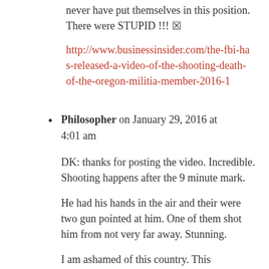never have put themselves in this position. There were STUPID !!! 🔲
http://www.businessinsider.com/the-fbi-has-released-a-video-of-the-shooting-death-of-the-oregon-militia-member-2016-1
Philosopher on January 29, 2016 at 4:01 am
DK: thanks for posting the video. Incredible. Shooting happens after the 9 minute mark.
He had his hands in the air and their were two gun pointed at him. One of them shot him from not very far away. Stunning.
I am ashamed of this country. This